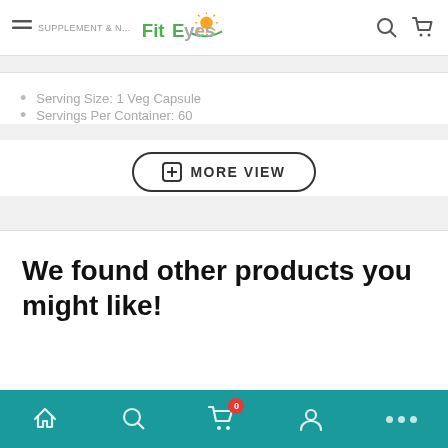SUPPLEMENT & N... FitEyes
Serving Size: 1 Veg Capsule
Servings Per Container: 60
MORE VIEW
We found other products you might like!
Home | Search | Cart (0) | Account | More